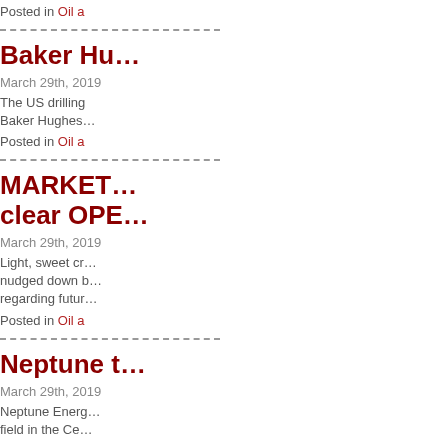Posted in Oil a…
Baker Hu…
March 29th, 2019
The US drilling… Baker Hughes…
Posted in Oil a…
MARKET… clear OPE…
March 29th, 2019
Light, sweet cr… nudged down b… regarding futur…
Posted in Oil a…
Neptune t…
March 29th, 2019
Neptune Energ… field in the Ce…